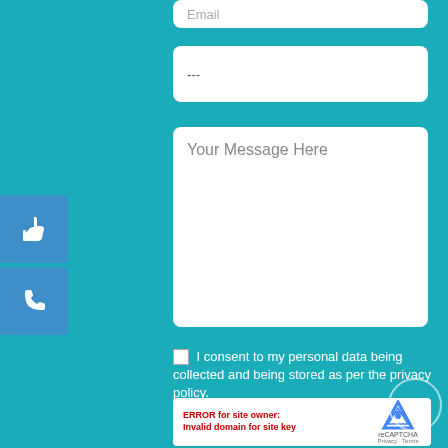Email
---
Your Message Here
[Figure (illustration): Blue sidebar button with white hand/pointer icon]
[Figure (illustration): Blue sidebar button with white phone icon]
I consent to my personal data being collected and being stored as per the privacy policy.
ERROR for site owner: Invalid domain for site key
[Figure (logo): reCAPTCHA logo with Privacy and Terms links]
[Figure (illustration): Circle button with upward arrow]